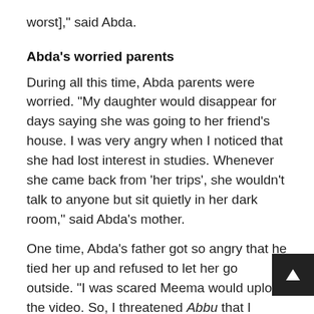worst],” said Abda.
Abda’s worried parents
During all this time, Abda parents were worried. “My daughter would disappear for days saying she was going to her friend’s house. I was very angry when I noticed that she had lost interest in studies. Whenever she came back from ‘her trips’, she wouldn’t talk to anyone but sit quietly in her dark room,” said Abda’s mother.
One time, Abda’s father got so angry that he tied her up and refused to let her go outside. “I was scared Meema would upload the video. So, I threatened Abbu that I would commit suicide i didn’t untie me,” said Abda.